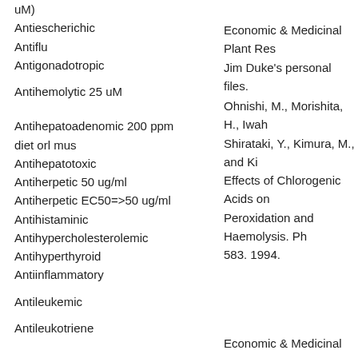uM)
Antiescherichic
Antiflu
Antigonadotropic
Antihemolytic 25 uM
Antihepatoadenomic 200 ppm diet orl mus
Antihepatotoxic
Antiherpetic 50 ug/ml
Antiherpetic EC50=>50 ug/ml
Antihistaminic
Antihypercholesterolemic
Antihyperthyroid
Antiinflammatory
Antileukemic
Antileukotriene
Economic & Medicinal Plant Res...
Jim Duke's personal files.
Ohnishi, M., Morishita, H., Iwah... Shirataki, Y., Kimura, M., and Ki... Effects of Chlorogenic Acids on ... Peroxidation and Haemolysis. Ph... 583. 1994.
Economic & Medicinal Plant Res...
Chiang, L. C., Chiang, W., Chang... C. 2003. Antileukemic activity of... in Taiwan. Am J Chin Med, 31(1...